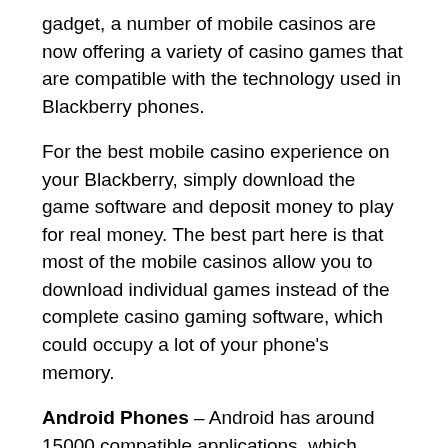gadget, a number of mobile casinos are now offering a variety of casino games that are compatible with the technology used in Blackberry phones.
For the best mobile casino experience on your Blackberry, simply download the game software and deposit money to play for real money. The best part here is that most of the mobile casinos allow you to download individual games instead of the complete casino gaming software, which could occupy a lot of your phone's memory.
Android Phones – Android has around 15000 compatible applications, which make it one of the most popular smartphone platforms in the market today. Considering the popularity of these phones, mobile casinos are now offering a variety of casino games that are compatible with Android phones.
The touchscreen technology of Android phones makes your online gaming experience smooth and exciting too. With a touchscreen 3G Android phone, you can easily access the